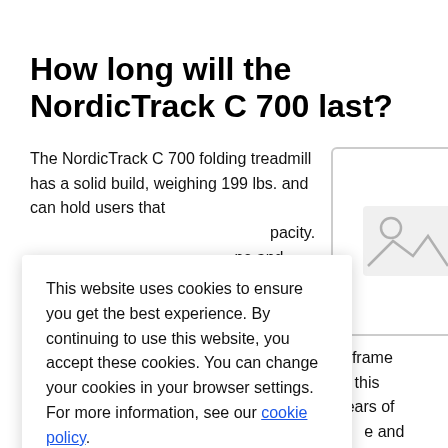How long will the NordicTrack C 700 last?
The NordicTrack C 700 folding treadmill has a solid build, weighing 199 lbs. and can hold users that [pacity.] [me and] [d labor] [g] ...ve lowered the frame and [s.] All in all, this treadmill [few years of decent workouts] [e and maintenance.]
[Figure (photo): Image placeholder icon showing a landscape photo outline with a circle (sun) and mountain shapes in gray on white background, inside a rounded border box]
This website uses cookies to ensure you get the best experience. By continuing to use this website, you accept these cookies. You can change your cookies in your browser settings. For more information, see our cookie policy.
The NordicTrack C 700 has a decent build for a folding treadmill and offers ...